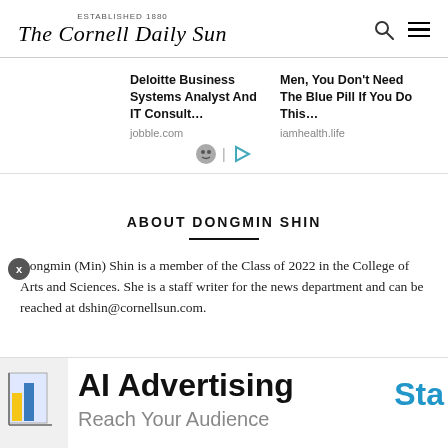The Cornell Daily Sun
Deloitte Business Systems Analyst And IT Consult… jobble.com
Men, You Don't Need The Blue Pill If You Do This… iamhealth.life
ABOUT DONGMIN SHIN
Dongmin (Min) Shin is a member of the Class of 2022 in the College of Arts and Sciences. She is a staff writer for the news department and can be reached at dshin@cornellsun.com.
AI Advertising Reach Your Audience Sta